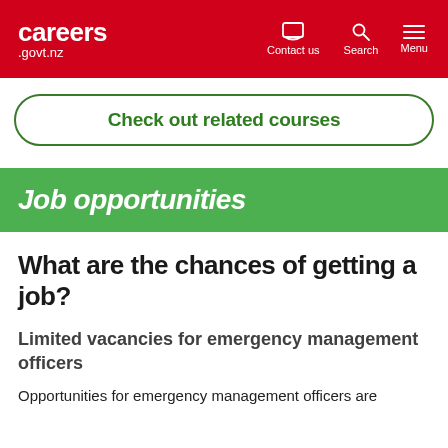careers .govt.nz — Contact us | Search | Menu
Check out related courses
Job opportunities
What are the chances of getting a job?
Limited vacancies for emergency management officers
Opportunities for emergency management officers are